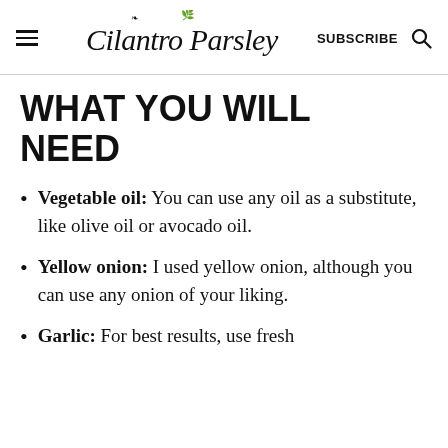Cilantro Parsley | SUBSCRIBE
WHAT YOU WILL NEED
Vegetable oil: You can use any oil as a substitute, like olive oil or avocado oil.
Yellow onion: I used yellow onion, although you can use any onion of your liking.
Garlic: For best results, use fresh